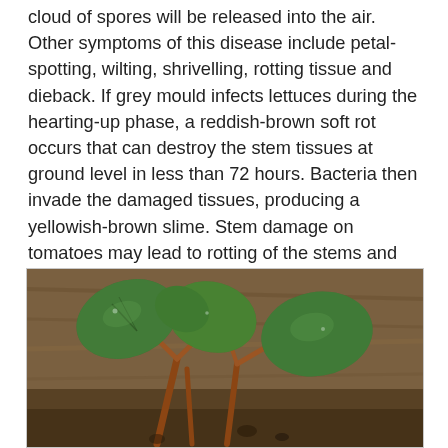cloud of spores will be released into the air. Other symptoms of this disease include petal-spotting, wilting, shrivelling, rotting tissue and dieback. If grey mould infects lettuces during the hearting-up phase, a reddish-brown soft rot occurs that can destroy the stem tissues at ground level in less than 72 hours. Bacteria then invade the damaged tissues, producing a yellowish-brown slime. Stem damage on tomatoes may lead to rotting of the stems and fruit. Symptoms on tomato fruits may also show as ghost spots (yellow circles).
[Figure (photo): Photograph of a small green plant seedling with rounded leaves growing from reddish-brown stems at ground level, on a wooden surface background.]